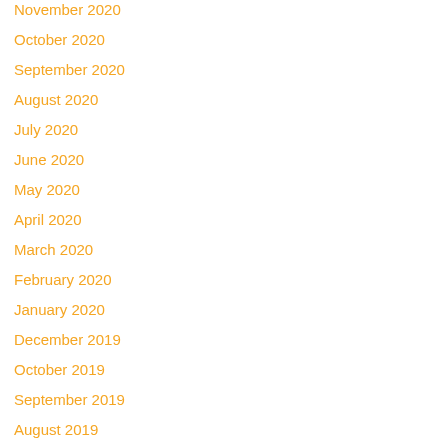November 2020
October 2020
September 2020
August 2020
July 2020
June 2020
May 2020
April 2020
March 2020
February 2020
January 2020
December 2019
October 2019
September 2019
August 2019
July 2019
June 2019
May 2019